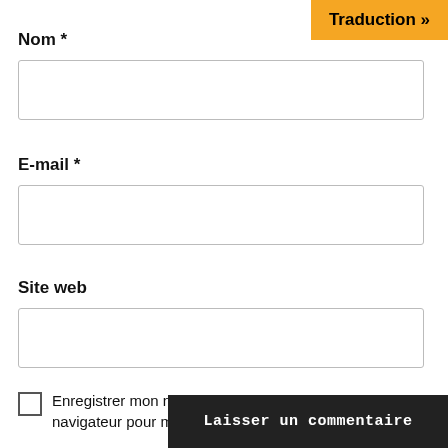Traduction »
Nom *
E-mail *
Site web
Enregistrer mon nom, mon e-mail et mon site dans le navigateur pour mon prochain commentaire.
Laisser un commentaire